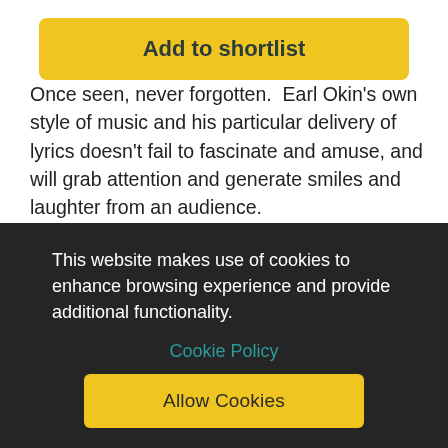Add to shortlist
Once seen, never forgotten.  Earl Okin's own style of music and his particular delivery of lyrics doesn't fail to fascinate and amuse, and will grab attention and generate smiles and laughter from an audience.
The London-based singer-songwriter, musician and comedian has entertained audiences since the 60s, progressing (or rather digressing) from folk music and jazz
This website makes use of cookies to enhance browsing experience and provide additional functionality.
Cookie Policy
Allow Cookies